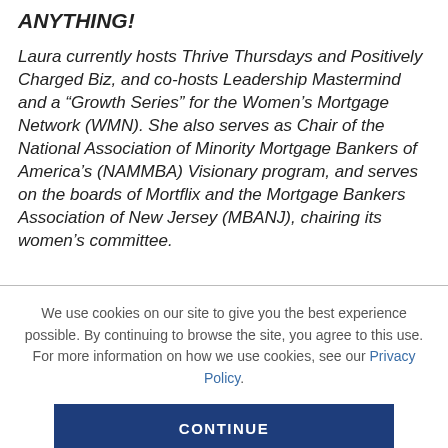ANYTHING!
Laura currently hosts Thrive Thursdays and Positively Charged Biz, and co-hosts Leadership Mastermind and a “Growth Series” for the Women’s Mortgage Network (WMN). She also serves as Chair of the National Association of Minority Mortgage Bankers of America’s (NAMMBA) Visionary program, and serves on the boards of Mortflix and the Mortgage Bankers Association of New Jersey (MBANJ), chairing its women’s committee.
We use cookies on our site to give you the best experience possible. By continuing to browse the site, you agree to this use. For more information on how we use cookies, see our Privacy Policy.
CONTINUE